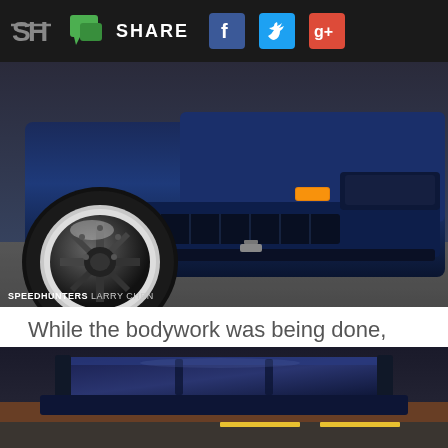SH SHARE [Facebook] [Twitter] [Google+]
[Figure (photo): Close-up front view of a dark blue sports car (Toyota AE86/Corolla) with wide-body styling, large black alloy wheels with chrome lips, and custom front lip, photographed low to the ground. Photo credit: SPEEDHUNTERS LARRY CHEN]
While the bodywork was being done, some subtle body changes were also made, namely a Woodsport front lip, Techno Toy Tuning side skirts extensions and T3 Bomber Bar.
[Figure (photo): Close-up detail shot of the rear wing/spoiler of a dark blue sports car, photographed at road level with orange and yellow road markings visible in background.]